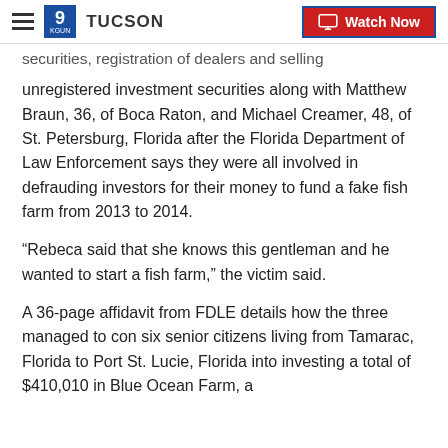9 TUCSON | Watch Now
securities, registration of dealers and selling unregistered investment securities along with Matthew Braun, 36, of Boca Raton, and Michael Creamer, 48, of St. Petersburg, Florida after the Florida Department of Law Enforcement says they were all involved in defrauding investors for their money to fund a fake fish farm from 2013 to 2014.
“Rebeca said that she knows this gentleman and he wanted to start a fish farm,” the victim said.
A 36-page affidavit from FDLE details how the three managed to con six senior citizens living from Tamarac, Florida to Port St. Lucie, Florida into investing a total of $410,010 in Blue Ocean Farm, a company that...